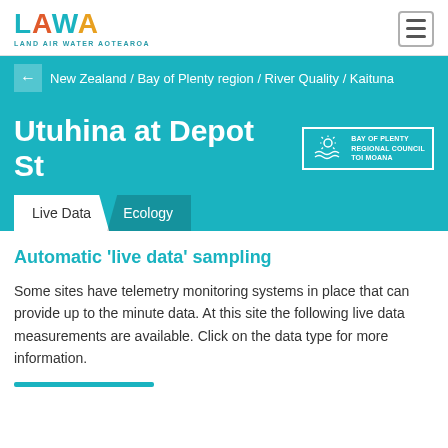LAWA LAND AIR WATER AOTEAROA
New Zealand / Bay of Plenty region / River Quality / Kaituna
Utuhina at Depot St
Live Data  Ecology
Automatic 'live data' sampling
Some sites have telemetry monitoring systems in place that can provide up to the minute data. At this site the following live data measurements are available. Click on the data type for more information.